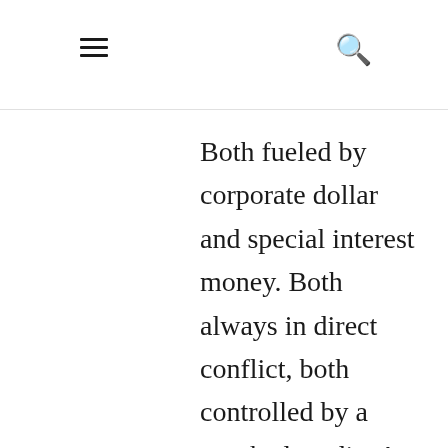≡  🔍
Both fueled by corporate dollar and special interest money. Both always in direct conflict, both controlled by a crooked media. A media where ratings go up by moving both unions farther from the center. People should joi...